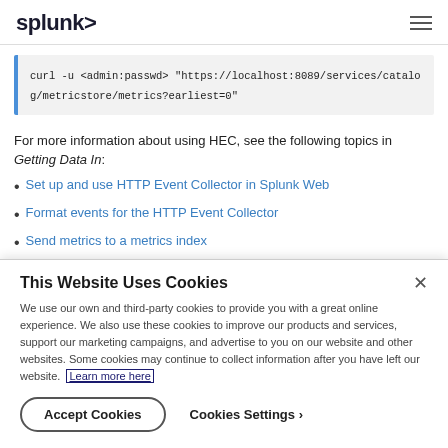splunk>
curl -u <admin:passwd> "https://localhost:8089/services/catalog/metricstore/metrics?earliest=0"
For more information about using HEC, see the following topics in Getting Data In:
Set up and use HTTP Event Collector in Splunk Web
Format events for the HTTP Event Collector
Send metrics to a metrics index
This Website Uses Cookies
We use our own and third-party cookies to provide you with a great online experience. We also use these cookies to improve our products and services, support our marketing campaigns, and advertise to you on our website and other websites. Some cookies may continue to collect information after you have left our website. Learn more here
Accept Cookies  Cookies Settings ›